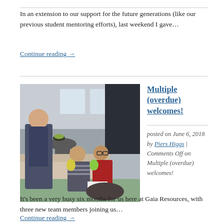In an extension to our support for the future generations (like our previous student mentoring efforts), last weekend I gave…
Continue reading →
[Figure (photo): Three people in an office/lounge area. One man is standing and leaning toward two seated people, one woman and one man wearing glasses. They appear to be holding fruit (yellow pears/lemon).]
Multiple (overdue) welcomes!
posted on June 6, 2018 by Piers Higgs | Comments Off on Multiple (overdue) welcomes!
It's been a very busy six months for us here at Gaia Resources, with three new team members joining us…
Continue reading →